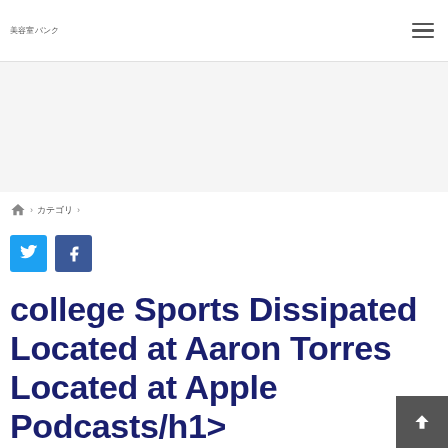美容室バンク
🏠 > カテゴリ >
[Figure (other): Twitter and Facebook social share buttons]
college Sports Dissipated Located at Aaron Torres Located at Apple Podcasts/h1>